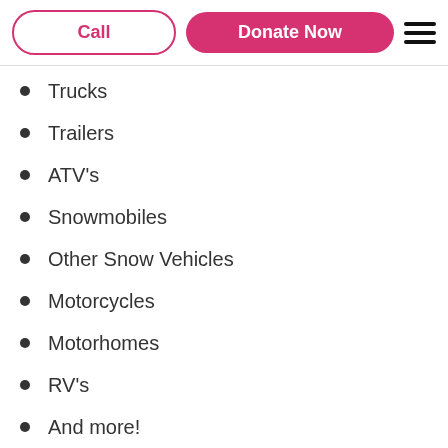Call | Donate Now
Trucks
Trailers
ATV's
Snowmobiles
Other Snow Vehicles
Motorcycles
Motorhomes
RV's
And more!
Free Towing From